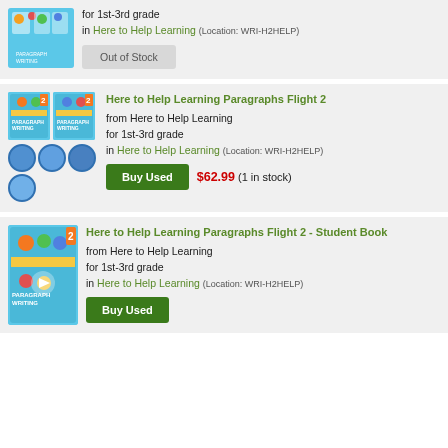for 1st-3rd grade in Here to Help Learning (Location: WRI-H2HELP)
Out of Stock
Here to Help Learning Paragraphs Flight 2
from Here to Help Learning
for 1st-3rd grade
in Here to Help Learning (Location: WRI-H2HELP)
Buy Used $62.99 (1 in stock)
Here to Help Learning Paragraphs Flight 2 - Student Book
from Here to Help Learning
for 1st-3rd grade
in Here to Help Learning (Location: WRI-H2HELP)